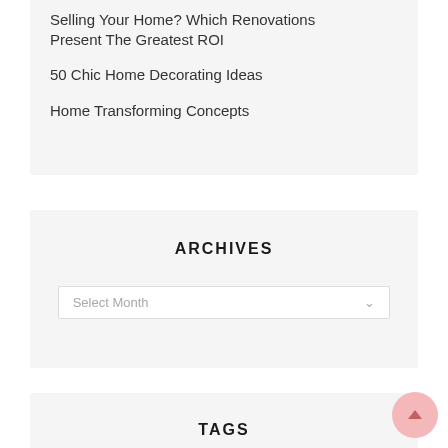Selling Your Home? Which Renovations Present The Greatest ROI
50 Chic Home Decorating Ideas
Home Transforming Concepts
ARCHIVES
Select Month
TAGS